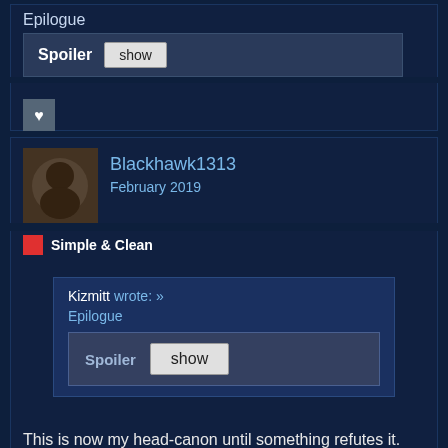Epilogue
Spoiler  show
[Figure (photo): Small user avatar with a white heart icon overlay]
Blackhawk1313
February 2019
Simple & Clean
Kizmitt wrote: »
Epilogue
Spoiler  show
This is now my head-canon until something refutes it.
masterofmetroid
February 2019